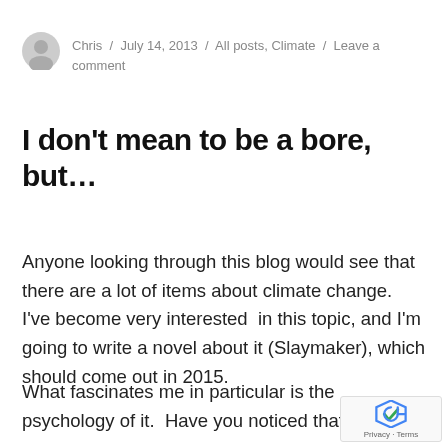Chris / July 14, 2013 / All posts, Climate / Leave a comment
I don't mean to be a bore, but…
Anyone looking through this blog would see that there are a lot of items about climate change.  I've become very interested  in this topic, and I'm going to write a novel about it (Slaymaker), which should come out in 2015.
What fascinates me in particular is the psychology of it.  Have you noticed that, eve…